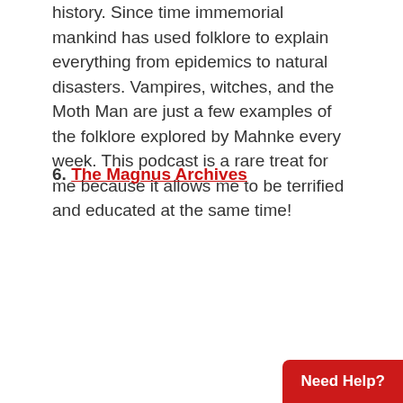history. Since time immemorial mankind has used folklore to explain everything from epidemics to natural disasters. Vampires, witches, and the Moth Man are just a few examples of the folklore explored by Mahnke every week. This podcast is a rare treat for me because it allows me to be terrified and educated at the same time!
6. The Magnus Archives